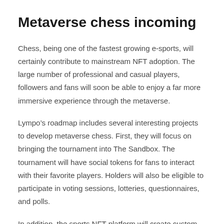Metaverse chess incoming
Chess, being one of the fastest growing e-sports, will certainly contribute to mainstream NFT adoption. The large number of professional and casual players, followers and fans will soon be able to enjoy a far more immersive experience through the metaverse.
Lympo’s roadmap includes several interesting projects to develop metaverse chess. First, they will focus on bringing the tournament into The Sandbox. The tournament will have social tokens for fans to interact with their favorite players. Holders will also be eligible to participate in voting sessions, lotteries, questionnaires, and polls.
In addition, the sports NFT platform will create custom-designed and animated NFT collections depicting top chess players such as Magnus Carlsen, Anish Giri, and Hans Niemann. These individualized NFT digital collectible cards will be integrated into